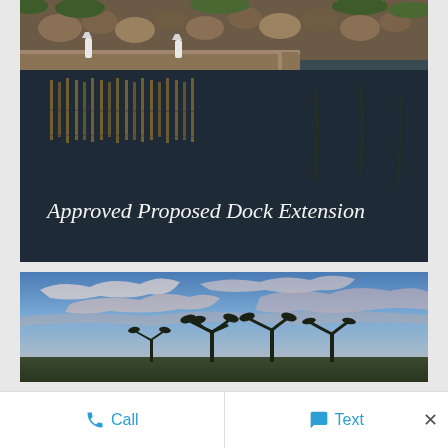[Figure (photo): Aerial/ground-level view of a marina dock with wooden decking, white bollards, rock landscaping, and dark water reflecting building lights. White italic text overlay reads 'Approved Proposed Dock Extension'.]
[Figure (photo): Outdoor landscape photo showing a twilight/dusk sky with soft pink and blue clouds above a waterfront or property scene with palm trees visible at bottom.]
Call
Text